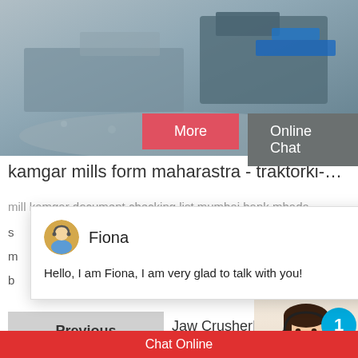[Figure (photo): Aerial view of stone crusher / mining machinery site with grey and blue industrial equipment]
More
Online Chat
kamgar mills form maharastra - traktorki-…
mill kamgar document checking list mumbai bank mhada
[Figure (screenshot): Chat popup with avatar of agent named Fiona and message: Hello, I am Fiona, I am very glad to talk with you!]
Previous
Jaw Crusher|ch
Next
e Crusher Price Stone Crusher
[Figure (photo): Customer service representative with headset, with cyan badge showing number 1]
Need questions & suggestion?
Chat Now
Chat Online